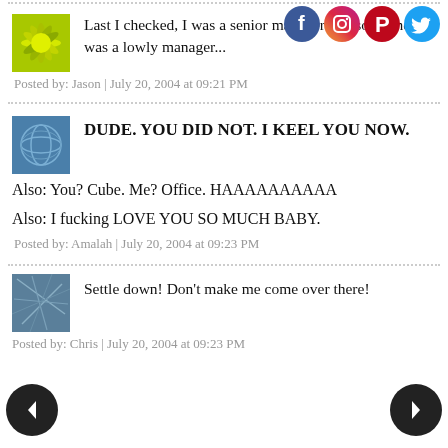[Figure (illustration): Four social media icons: Facebook (blue), Instagram (pink gradient), Pinterest (red), Twitter (light blue)]
[Figure (illustration): Green starburst/flower avatar image]
Last I checked, I was a senior manager and someone was a lowly manager...
Posted by: Jason | July 20, 2004 at 09:21 PM
[Figure (illustration): Blue abstract sphere/globe avatar image]
DUDE. YOU DID NOT. I KEEL YOU NOW.
Also: You? Cube. Me? Office. HAAAAAAAAAA
Also: I fucking LOVE YOU SO MUCH BABY.
Posted by: Amalah | July 20, 2004 at 09:23 PM
[Figure (illustration): Blue abstract network/lines avatar image]
Settle down! Don't make me come over there!
Posted by: Chris | July 20, 2004 at 09:23 PM
[Figure (illustration): Left navigation arrow (back)]
[Figure (illustration): Right navigation arrow (forward)]